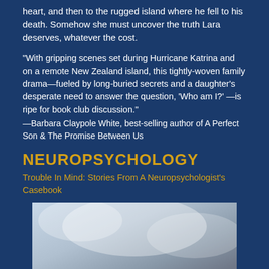heart, and then to the rugged island where he fell to his death. Somehow she must uncover the truth Lara deserves, whatever the cost.
"With gripping scenes set during Hurricane Katrina and on a remote New Zealand island, this tightly-woven family drama—fueled by long-buried secrets and a daughter's desperate need to answer the question, 'Who am I?' —is ripe for book club discussion."
—Barbara Claypole White, best-selling author of A Perfect Son & The Promise Between Us
NEUROPSYCHOLOGY
Trouble In Mind: Stories From A Neuropsychologist's Casebook
[Figure (photo): Book cover showing a light blue-grey misty background with the author name JENNI OGDEN at the bottom.]